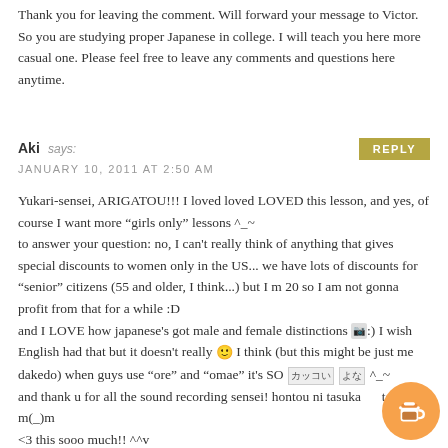Thank you for leaving the comment. Will forward your message to Victor. So you are studying proper Japanese in college. I will teach you here more casual one. Please feel free to leave any comments and questions here anytime.
Aki says:
JANUARY 10, 2011 AT 2:50 AM
Yukari-sensei, ARIGATOU!!! I loved loved LOVED this lesson, and yes, of course I want more “girls only” lessons ^_~
to answer your question: no, I can't really think of anything that gives special discounts to women only in the US... we have lots of discounts for “senior” citizens (55 and older, I think...) but I m 20 so I am not gonna profit from that for a while :D
and I LOVE how japanese's got male and female distinctions [image]:) I wish English had that but it doesn't really 🙂 I think (but this might be just me dakedo) when guys use “ore” and “omae” it's SO [kanji] [kanji] ^_~
and thank u for all the sound recording sensei! hontou ni tasukatte ite m(_)m
<3 this sooo much!! ^^v